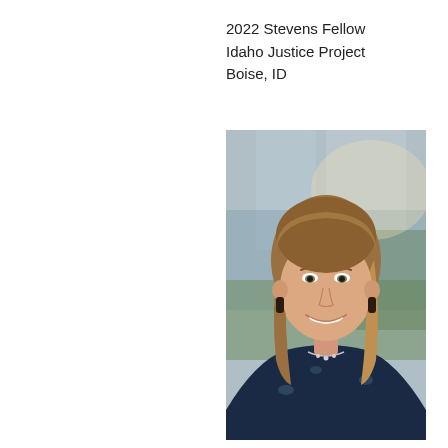2022 Stevens Fellow
Idaho Justice Project
Boise, ID
[Figure (photo): Headshot photo of a young woman with shoulder-length brown hair with highlights, smiling. She is wearing a dark floral blouse with bird patterns and a silver necklace. The background is blurred, showing what appears to be a building and greenery.]